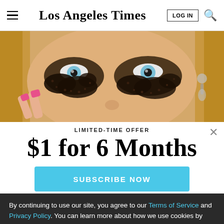Los Angeles Times
[Figure (photo): Close-up photo of a woman with dramatic glitter eye makeup, looking directly at camera, with blonde hair and dangling earrings, applying makeup with pink nails.]
LIMITED-TIME OFFER
$1 for 6 Months
SUBSCRIBE NOW
By continuing to use our site, you agree to our Terms of Service and Privacy Policy. You can learn more about how we use cookies by reviewing our Privacy Policy. Close